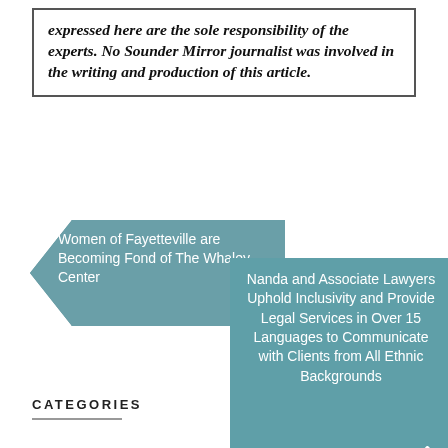expressed here are the sole responsibility of the experts. No Sounder Mirror journalist was involved in the writing and production of this article.
[Figure (infographic): Navigation infographic with two arrow shapes in teal. Left arrow contains text: 'Women of Fayetteville are Becoming Fond of The Whaley Center'. Right larger arrow shape contains text: 'Nanda and Associate Lawyers Uphold Inclusivity and Provide Legal Services in Over 15 Languages to Communicate with Clients from All Ethnic Backgrounds' with an upward chevron arrow at the bottom right.]
CATEGORIES